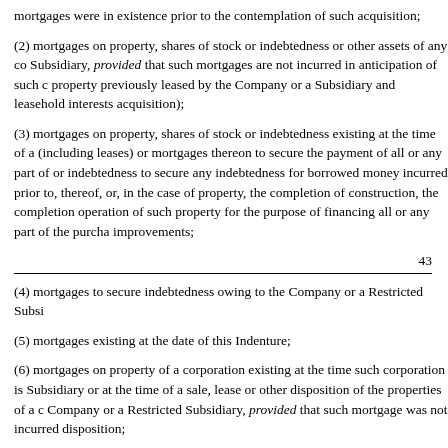mortgages were in existence prior to the contemplation of such acquisition;
(2) mortgages on property, shares of stock or indebtedness or other assets of any co Subsidiary, provided that such mortgages are not incurred in anticipation of such c property previously leased by the Company or a Subsidiary and leasehold interests acquisition);
(3) mortgages on property, shares of stock or indebtedness existing at the time of a (including leases) or mortgages thereon to secure the payment of all or any part of or indebtedness to secure any indebtedness for borrowed money incurred prior to, thereof, or, in the case of property, the completion of construction, the completion operation of such property for the purpose of financing all or any part of the purcha improvements;
43
(4) mortgages to secure indebtedness owing to the Company or a Restricted Subsi
(5) mortgages existing at the date of this Indenture;
(6) mortgages on property of a corporation existing at the time such corporation is Subsidiary or at the time of a sale, lease or other disposition of the properties of a c Company or a Restricted Subsidiary, provided that such mortgage was not incurred disposition;
(7) mortgages in favor of the United States or any State, territory or possession the instrumentality or political subdivision of the United States or any State, territory o partial, progress, advance or other payments pursuant to any contract or statute (ii